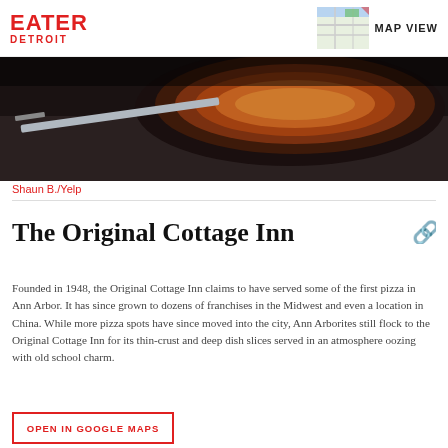EATER DETROIT
[Figure (photo): Close-up photo of a pizza in a dark pan on a dark surface, with a knife/spatula visible]
Shaun B./Yelp
The Original Cottage Inn
Founded in 1948, the Original Cottage Inn claims to have served some of the first pizza in Ann Arbor. It has since grown to dozens of franchises in the Midwest and even a location in China. While more pizza spots have since moved into the city, Ann Arborites still flock to the Original Cottage Inn for its thin-crust and deep dish slices served in an atmosphere oozing with old school charm.
OPEN IN GOOGLE MAPS